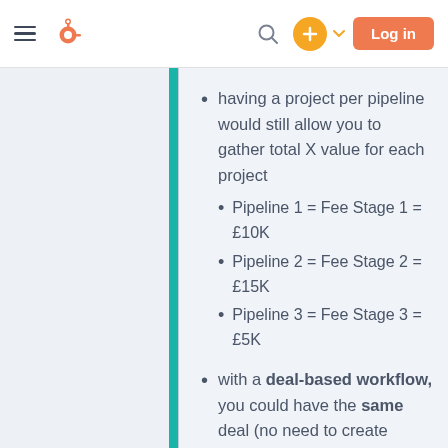[Figure (screenshot): HubSpot website navigation bar with hamburger menu, HubSpot logo, search icon, orange plus button with dropdown caret, and orange Log in button]
having a project per pipeline would still allow you to gather total X value for each project
Pipeline 1 = Fee Stage 1 = £10K
Pipeline 2 = Fee Stage 2 = £15K
Pipeline 3 = Fee Stage 3 = £5K
with a deal-based workflow, you could have the same deal (no need to create multiple deals)